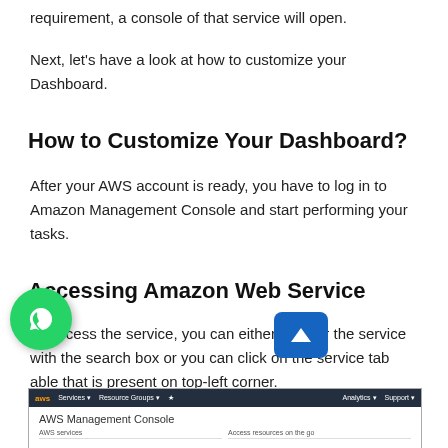requirement, a console of that service will open.
Next, let's have a look at how to customize your Dashboard.
How to Customize Your Dashboard?
After your AWS account is ready, you have to log in to Amazon Management Console and start performing your tasks.
Accessing Amazon Web Service
To access the service, you can either look for the service with the search box or you can click on the service tab able that is present on top-left corner.
[Figure (screenshot): Screenshot of AWS Management Console showing the top navigation bar and the console home page with 'AWS services' and 'Access resources on the go' columns.]